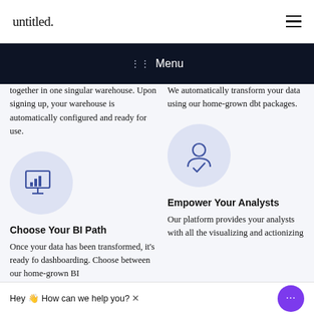untitled.
Menu
together in one singular warehouse. Upon signing up, your warehouse is automatically configured and ready for use.
We automatically transform your data using our home-grown dbt packages.
[Figure (illustration): Blue analytics/chart icon on a light blue circle]
[Figure (illustration): Blue person/user icon on a light blue circle]
Choose Your BI Path
Empower Your Analysts
Once your data has been transformed, it's ready for dashboarding. Choose between our home-grown BI
Our platform provides your analysts with all the visualizing and actionizing
Hey 👋 How can we help you? ✕